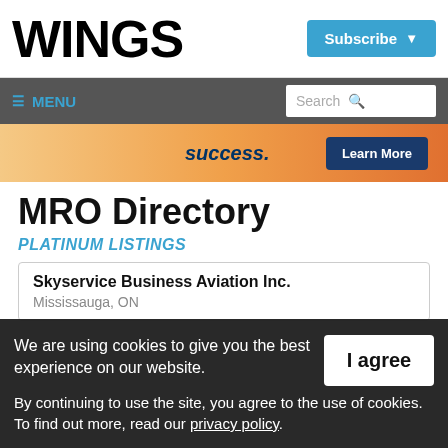WINGS
Subscribe
≡ MENU
Search
[Figure (illustration): Advertisement banner with text 'success.' and a 'Learn More' button on a warm orange/sunset gradient background]
MRO Directory
PLATINUM LISTINGS
Skyservice Business Aviation Inc.
Mississauga, ON
We are using cookies to give you the best experience on our website. By continuing to use the site, you agree to the use of cookies. To find out more, read our privacy policy.